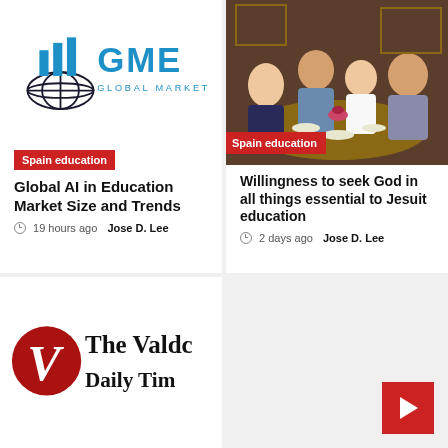[Figure (logo): GME Global Market Estimates logo with blue bar chart icon and globe]
Spain education
Global AI in Education Market Size and Trends
19 hours ago  Jose D. Lee
[Figure (photo): People seated around a dining table with food and drinks]
Spain education
Willingness to seek God in all things essential to Jesuit education
2 days ago  Jose D. Lee
[Figure (logo): The Valdosta Daily Times newspaper logo with red V emblem]
[Figure (other): Red square button with white arrow icon]